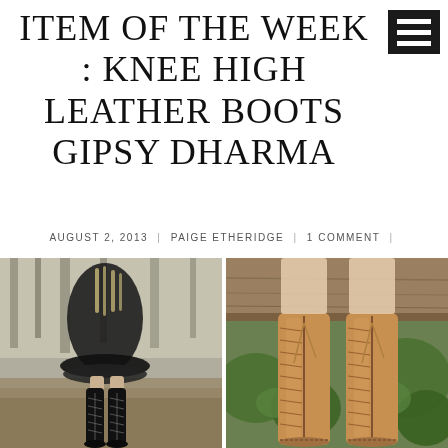ITEM OF THE WEEK : KNEE HIGH LEATHER BOOTS GIPSY DHARMA
AUGUST 2, 2013  |  PAIGE ETHERIDGE  |  1 COMMENT  |
[Figure (photo): Two photos side by side: left shows a person in a black outfit wearing tall black lace-up knee-high leather boots standing on fallen leaves in a forest; right shows close-up of tan/brown knee-high lace-up leather boots on a person sitting on a log in a forest setting.]